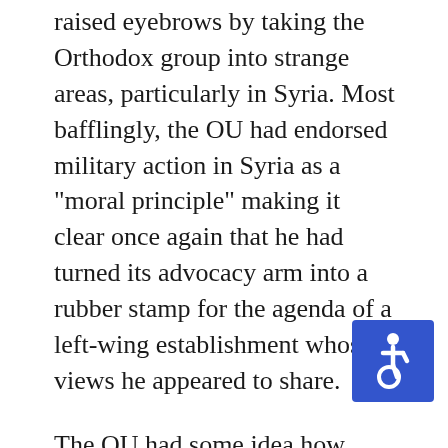raised eyebrows by taking the Orthodox group into strange areas, particularly in Syria. Most bafflingly, the OU had endorsed military action in Syria as a "moral principle" making it clear once again that he had turned its advocacy arm into a rubber stamp for the agenda of a left-wing establishment whose views he appeared to share.
The OU had some idea how unpopular this agenda was because the statement hardly mentioned Syria and talked instead about Iran and Hezbollah. But on Twitter, Diament let the real point slip out.
The OU statement was met with immediate outrage from Jews at the OU's bizarre statement
[Figure (illustration): Blue accessibility icon (wheelchair symbol) in a blue rounded rectangle]